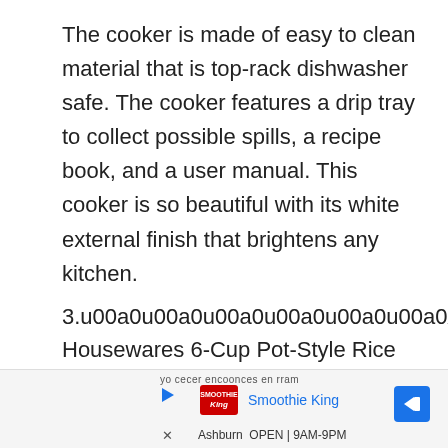The cooker is made of easy to clean material that is top-rack dishwasher safe. The cooker features a drip tray to collect possible spills, a recipe book, and a user manual. This cooker is so beautiful with its white external finish that brightens any kitchen.
3.u00a0u00a0u00a0u00a0u00a0u00a0Aroma Housewares 6-Cup Pot-Style Rice cooker and vegetable steamer
[Figure (screenshot): Advertisement bar at bottom showing Smoothie King ad with play button, logo, name in blue, navigation arrow icon, and Ashburn location with OPEN 9AM-9PM text.]